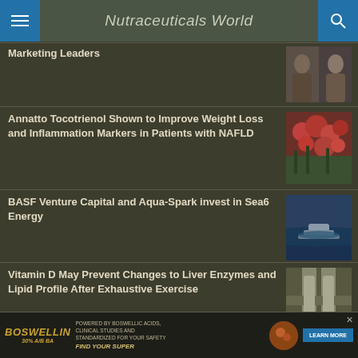Nutraceuticals World
Marketing Leaders
[Figure (photo): Two people, a man and a woman, photo thumbnails]
Annatto Tocotrienol Shown to Improve Weight Loss and Inflammation Markers in Patients with NAFLD
[Figure (photo): Red berries or fruits on plant]
BASF Venture Capital and Aqua-Spark invest in Sea6 Energy
[Figure (photo): Boat on the ocean from aerial view]
Vitamin D May Prevent Changes to Liver Enzymes and Lipid Profile After Exhaustive Exercise
[Figure (photo): Person exercising, legs visible on gym equipment]
[Figure (other): Boswellin advertisement banner - POWERED BY BOSWELLIC ACIDS, CLINICAL STUDIES AND STANDARDIZED FOR YOUR SAFETY, FIND YOUR SUPER, LEARN MORE]